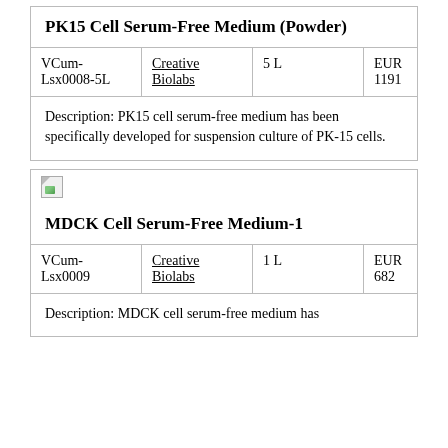| Product | Brand | Volume | Price |
| --- | --- | --- | --- |
| PK15 Cell Serum-Free Medium (Powder) |  |  |  |
| VCum-Lsx0008-5L | Creative Biolabs | 5 L | EUR 1191 |
| Description: PK15 cell serum-free medium has been specifically developed for suspension culture of PK-15 cells. |  |  |  |
[Figure (photo): Broken/missing image icon for MDCK Cell Serum-Free Medium-1 product]
| Product | Brand | Volume | Price |
| --- | --- | --- | --- |
| MDCK Cell Serum-Free Medium-1 |  |  |  |
| VCum-Lsx0009 | Creative Biolabs | 1 L | EUR 682 |
| Description: MDCK cell serum-free medium has |  |  |  |